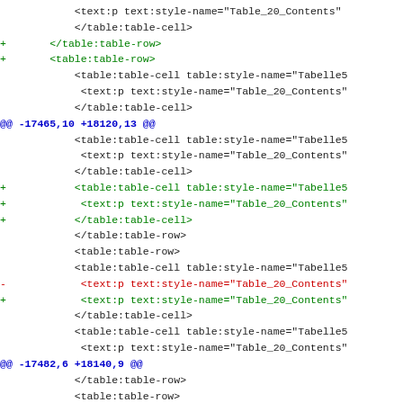Diff/patch code snippet showing XML table markup changes with hunk headers and added/removed lines